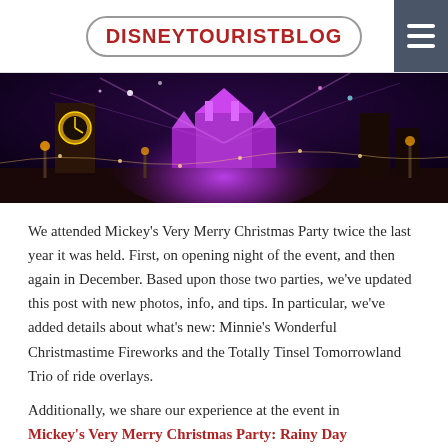DISNEYTOURISTBLOG
[Figure (photo): Cinderella Castle lit up in purple and pink light during Mickey's Very Merry Christmas Party at Magic Kingdom, with clock tower and holiday decorations visible]
We attended Mickey's Very Merry Christmas Party twice the last year it was held. First, on opening night of the event, and then again in December. Based upon those two parties, we've updated this post with new photos, info, and tips. In particular, we've added details about what's new: Minnie's Wonderful Christmastime Fireworks and the Totally Tinsel Tomorrowland Trio of ride overlays.
Additionally, we share our experience at the event in Mickey's Very Merry Christmas Party: Rainy Day Report. We've also posted our Best & Worst Christmas Snacks at Magic Kingdom, which covers many party